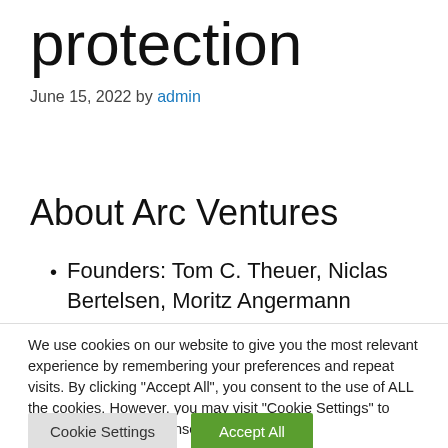protection
June 15, 2022 by admin
About Arc Ventures
Founders: Tom C. Theuer, Niclas Bertelsen, Moritz Angermann
We use cookies on our website to give you the most relevant experience by remembering your preferences and repeat visits. By clicking “Accept All”, you consent to the use of ALL the cookies. However, you may visit "Cookie Settings" to provide a controlled consent.